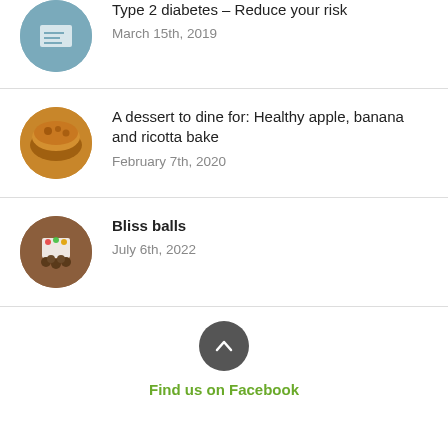Type 2 diabetes – Reduce your risk
March 15th, 2019
A dessert to dine for: Healthy apple, banana and ricotta bake
February 7th, 2020
Bliss balls
July 6th, 2022
Find us on Facebook